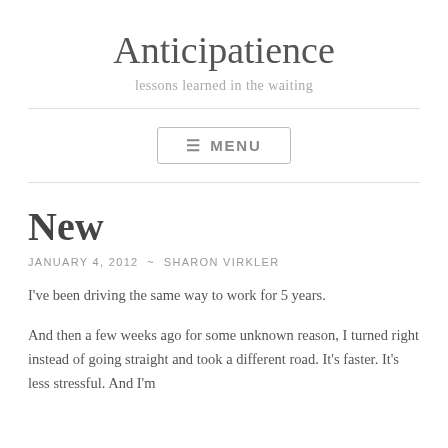Anticipatience
lessons learned in the waiting
≡ MENU
New
JANUARY 4, 2012 ~ SHARON VIRKLER
I've been driving the same way to work for 5 years.
And then a few weeks ago for some unknown reason, I turned right instead of going straight and took a different road. It's faster. It's less stressful. And I'm